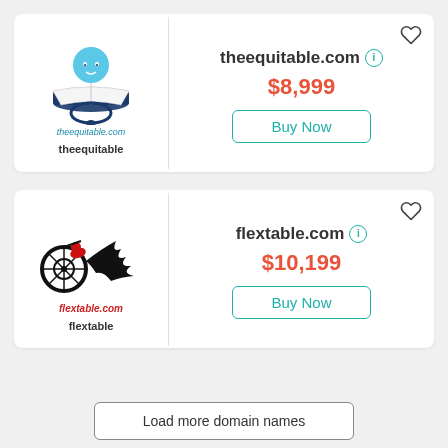[Figure (logo): theequitable.com logo: baby pacifier with blue head reading book, text 'theequitable.com' and 'theequitable' below]
theequitable.com  $8,999  Buy Now
[Figure (logo): flextable.com logo: motorcycle with flame tail, red italic text 'flextable.com' and 'flextable' below]
flextable.com  $10,199  Buy Now
Load more domain names